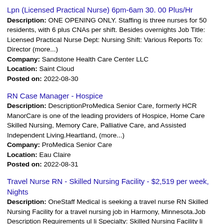Lpn (Licensed Practical Nurse) 6pm-6am 30. 00 Plus/Hr
Description: ONE OPENING ONLY. Staffing is three nurses for 50 residents, with 6 plus CNAs per shift. Besides overnights Job Title: Licensed Practical Nurse Dept: Nursing Shift: Various Reports To: Director (more...) Company: Sandstone Health Care Center LLC Location: Saint Cloud Posted on: 2022-08-30
RN Case Manager - Hospice
Description: DescriptionProMedica Senior Care, formerly HCR ManorCare is one of the leading providers of Hospice, Home Care Skilled Nursing, Memory Care, Palliative Care, and Assisted Independent Living.Heartland, (more...) Company: ProMedica Senior Care Location: Eau Claire Posted on: 2022-08-31
Travel Nurse RN - Skilled Nursing Facility - $2,519 per week, Nights
Description: OneStaff Medical is seeking a travel nurse RN Skilled Nursing Facility for a travel nursing job in Harmony, Minnesota.Job Description Requirements ul li Specialty: Skilled Nursing Facility li (more...) Company: OneStaff Medical Location: Harmony